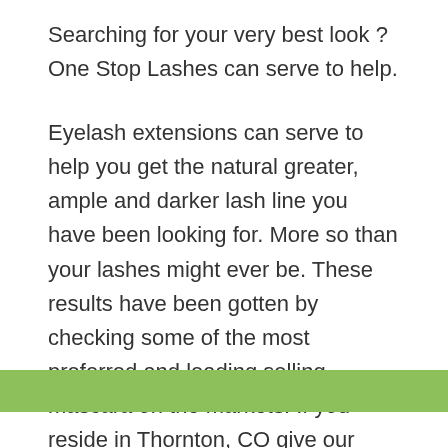Searching for your very best look ? One Stop Lashes can serve to help.
Eyelash extensions can serve to help you get the natural greater, ample and darker lash line you have been looking for. More so than your lashes might ever be. These results have been gotten by checking some of the most preferred and leading selling mascara on the markets. If you reside in Thornton, CO give our impressive lash artists a phone call and you